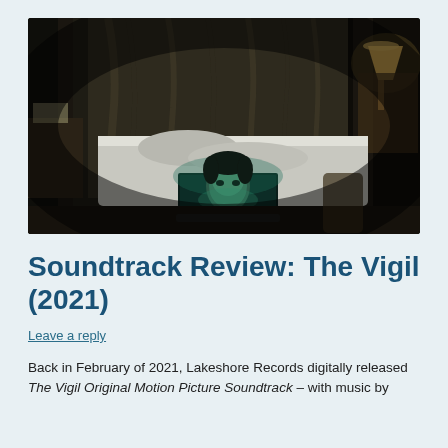[Figure (photo): Dark cinematic still from The Vigil (2021): a young man illuminated by blue-green light sits at a laptop in a dimly lit apartment bedroom; behind him a covered body lies on the bed, curtained windows, and a lit lamp in the upper right.]
Soundtrack Review: The Vigil (2021)
Leave a reply
Back in February of 2021, Lakeshore Records digitally released The Vigil Original Motion Picture Soundtrack – with music by